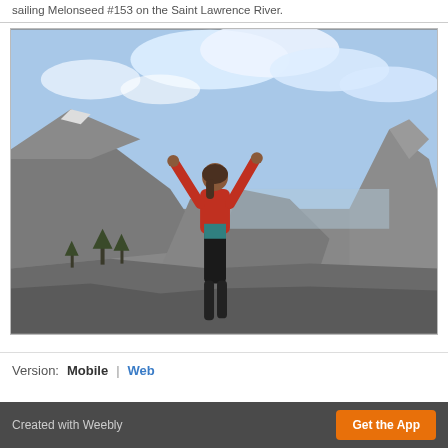sailing Melonseed #153 on the Saint Lawrence River.
[Figure (photo): Person with arms raised standing on rocky terrain with mountains and cloudy sky in background, resembling Yosemite landscape]
Version: Mobile | Web
Created with Weebly    Get the App